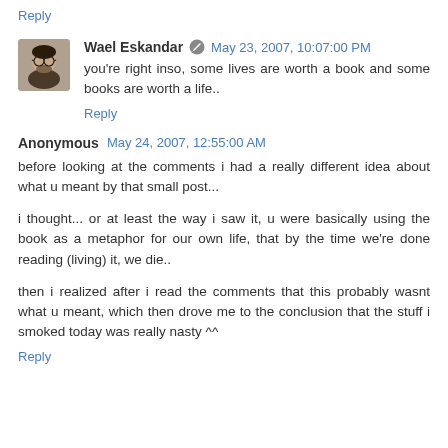Reply
Wael Eskandar  May 23, 2007, 10:07:00 PM
you're right inso, some lives are worth a book and some books are worth a life..
Reply
Anonymous  May 24, 2007, 12:55:00 AM
before looking at the comments i had a really different idea about what u meant by that small post...
i thought... or at least the way i saw it, u were basically using the book as a metaphor for our own life, that by the time we're done reading (living) it, we die..
then i realized after i read the comments that this probably wasnt what u meant, which then drove me to the conclusion that the stuff i smoked today was really nasty ^^
Reply